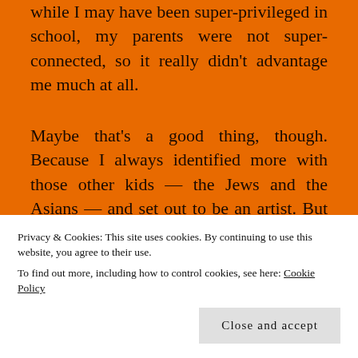while I may have been super-privileged in school, my parents were not super-connected, so it really didn't advantage me much at all.
Maybe that's a good thing, though. Because I always identified more with those other kids — the Jews and the Asians — and set out to be an artist. But because of that test, I wound up having the friends I did, making the choices I did, and never really bonding with other classmates who weren't on my same track.
Privacy & Cookies: This site uses cookies. By continuing to use this website, you agree to their use.
To find out more, including how to control cookies, see here: Cookie Policy